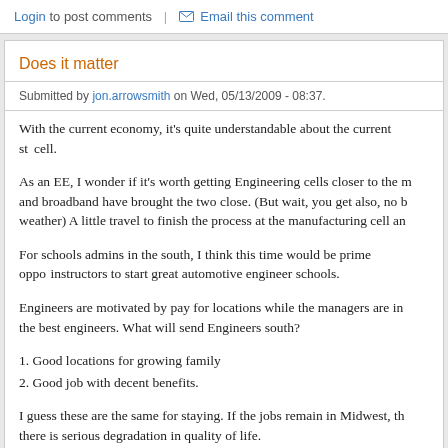Login to post comments  |  Email this comment
Does it matter
Submitted by jon.arrowsmith on Wed, 05/13/2009 - 08:37.
With the current economy, it's quite understandable about the current state of the manufacturing cell.
As an EE, I wonder if it's worth getting Engineering cells closer to the manufacturing cells and broadband have brought the two close. (But wait, you get also, no bad weather) A little travel to finish the process at the manufacturing cell an
For schools admins in the south, I think this time would be prime opportunity with instructors to start great automotive engineer schools.
Engineers are motivated by pay for locations while the managers are in the best engineers. What will send Engineers south?
1. Good locations for growing family
2. Good job with decent benefits.
I guess these are the same for staying. If the jobs remain in Midwest, there is serious degradation in quality of life.